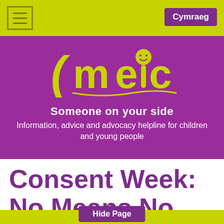Cymraeg
[Figure (logo): meic logo - stylized yellow-green handwritten text 'meic' with a smiley face on the letter i, on a purple background]
Someone on your side
Information, advice and advocacy helpline for children and young people
Consent Week: No Means No
Hide Page